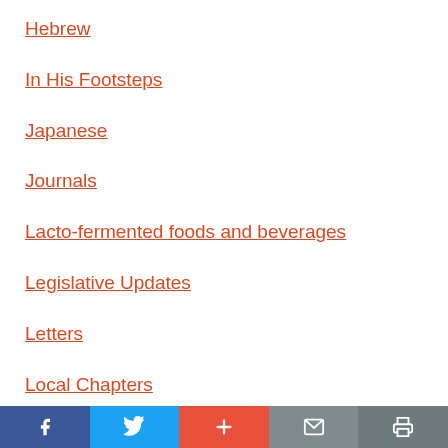Hebrew
In His Footsteps
Japanese
Journals
Lacto-fermented foods and beverages
Legislative Updates
Letters
Local Chapters
Mother Nature Obeyed
Social share bar: Facebook, Twitter, Plus, Mail, Print